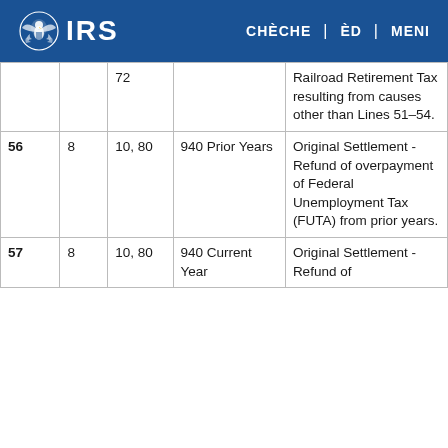IRS | CHÈCHE | ÈD | MENI
|  |  |  |  |  |
| --- | --- | --- | --- | --- |
|  |  | 72 |  | Railroad Retirement Tax resulting from causes other than Lines 51–54. |
| 56 | 8 | 10, 80 | 940 Prior Years | Original Settlement - Refund of overpayment of Federal Unemployment Tax (FUTA) from prior years. |
| 57 | 8 | 10, 80 | 940 Current Year | Original Settlement - Refund of |